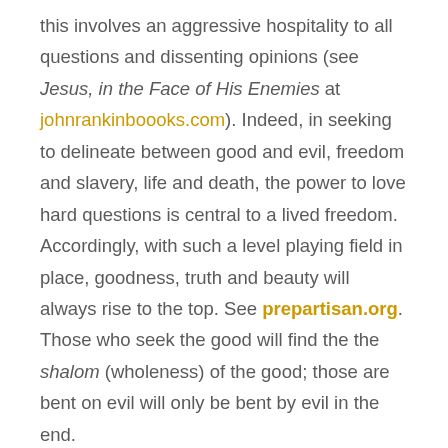this involves an aggressive hospitality to all questions and dissenting opinions (see Jesus, in the Face of His Enemies at johnrankinboooks.com). Indeed, in seeking to delineate between good and evil, freedom and slavery, life and death, the power to love hard questions is central to a lived freedom. Accordingly, with such a level playing field in place, goodness, truth and beauty will always rise to the top. See prepartisan.org. Those who seek the good will find the the shalom (wholeness) of the good; those are bent on evil will only be bent by evil in the end.